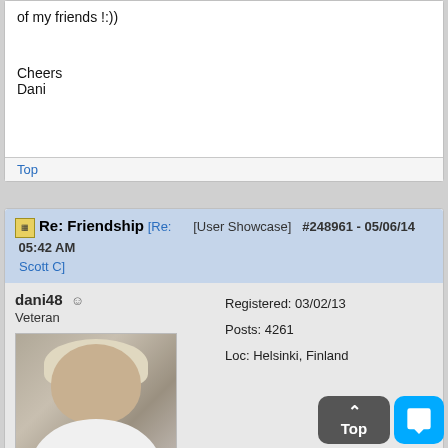of my friends !:))
Cheers
Dani
Top
Re: Friendship [Re: [User Showcase] #248961 - 05/06/14 05:42 AM Scott C]
dani48 ☺
Veteran
Registered: 03/02/13
Posts: 4261
Loc: Helsinki, Finland
[Figure (photo): Profile photo of dani48 — an older person with light hair wearing a white shirt, outdoors against a stone wall background.]
Registered: 03/02/13
Posts: 4261
Loc: Helsinki, Finland